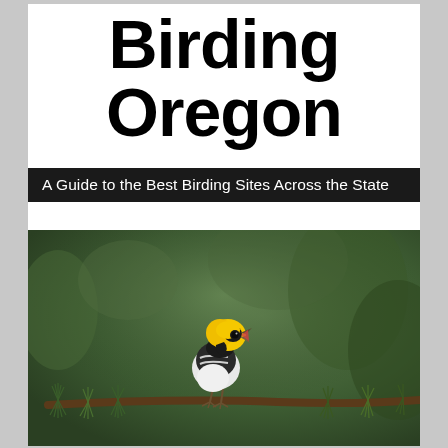Birding Oregon
A Guide to the Best Birding Sites Across the State
Third Edition
[Figure (photo): A small songbird with bright yellow head and black throat perched on a pine branch, singing with beak open. The bird has white underparts and dark wings with white wing bars. Background is a blurred green forest.]